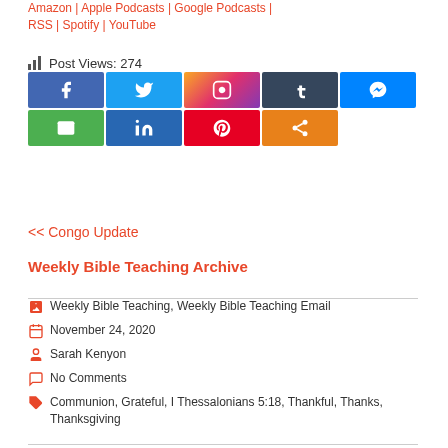Subscribe: Amazon | Apple Podcasts | Google Podcasts | RSS | Spotify | YouTube
Post Views: 274
[Figure (infographic): Social share buttons grid: Facebook (blue), Twitter (light blue), Instagram (gradient), Tumblr (dark blue), Messenger (blue), Email (green), LinkedIn (blue), Pinterest (red), Share (orange)]
<< Congo Update
Weekly Bible Teaching Archive
Weekly Bible Teaching, Weekly Bible Teaching Email
November 24, 2020
Sarah Kenyon
No Comments
Communion, Grateful, I Thessalonians 5:18, Thankful, Thanks, Thanksgiving